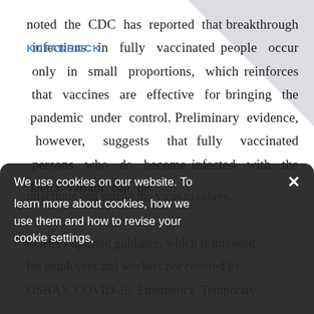[Figure (logo): KUTAKROCK law firm logo in blue text, top left area]
noted the CDC has reported that breakthrough infections in fully vaccinated people occur only in small proportions, which reinforces that vaccines are effective for bringing the pandemic under control. Preliminary evidence, however, suggests that fully vaccinated persons who do become infected with the Delta variant can be
infections and spread the virus to others. OSHA's updated guidance, which is intended for employers and workers not covered by OSHA's COVID-19 Emergency Temporary
We use cookies on our website. To learn more about cookies, how we use them and how to revise your cookie settings,